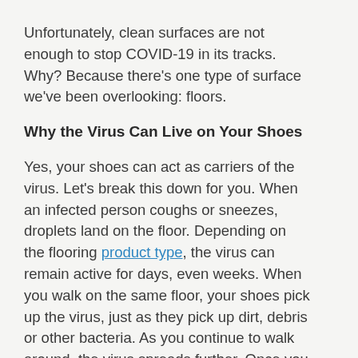Unfortunately, clean surfaces are not enough to stop COVID-19 in its tracks. Why? Because there’s one type of surface we’ve been overlooking: floors.
Why the Virus Can Live on Your Shoes
Yes, your shoes can act as carriers of the virus. Let’s break this down for you. When an infected person coughs or sneezes, droplets land on the floor. Depending on the flooring product type, the virus can remain active for days, even weeks. When you walk on the same floor, your shoes pick up the virus, just as they pick up dirt, debris or other bacteria. As you continue to walk around, the virus spreads further. Once you get home, you bring the virus into your kitchen, bedroom, and nursery. If you touch your shoes, the virus can spread to your hands and infect